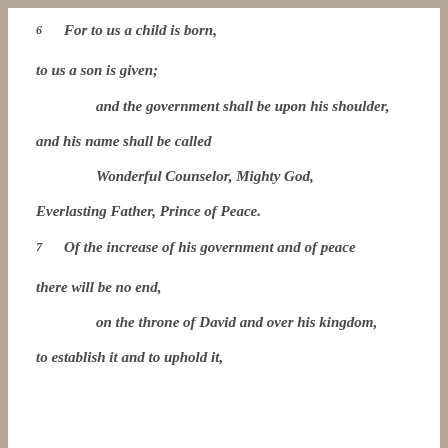6 For to us a child is born,
to us a son is given;
and the government shall be upon his shoulder,
and his name shall be called
Wonderful Counselor, Mighty God,
Everlasting Father, Prince of Peace.
7 Of the increase of his government and of peace
there will be no end,
on the throne of David and over his kingdom,
to establish it and to uphold it,